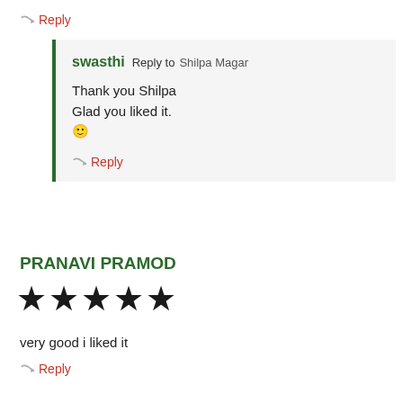Reply
swasthi Reply to Shilpa Magar
Thank you Shilpa
Glad you liked it.
🙂
Reply
PRANAVI PRAMOD
★★★★★
very good i liked it
Reply